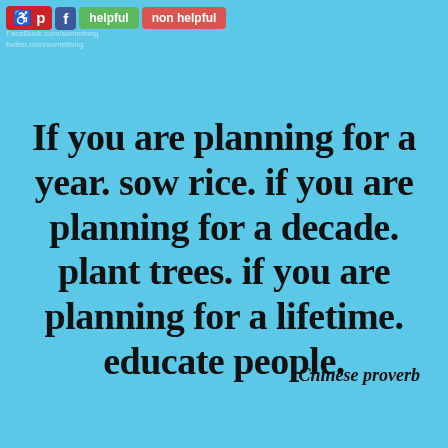[Figure (other): Social media toolbar with Pinterest, Facebook, helpful, and non helpful buttons overlaid on top-left corner]
If you are planning for a year. sow rice. if you are planning for a decade. plant trees. if you are planning for a lifetime. educate people.
Chinese proverb